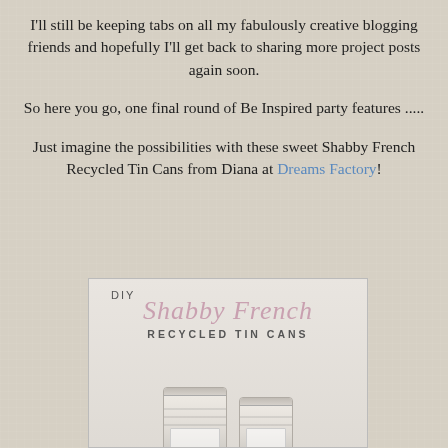I'll still be keeping tabs on all my fabulously creative blogging friends and hopefully I'll get back to sharing more project posts again soon.
So here you go, one final round of Be Inspired party features .....
Just imagine the possibilities with these sweet Shabby French Recycled Tin Cans from Diana at Dreams Factory!
[Figure (photo): Image of DIY Shabby French Recycled Tin Cans — decorative white tin cans with a pink cursive logo and serif/sans title text, two cans visible.]